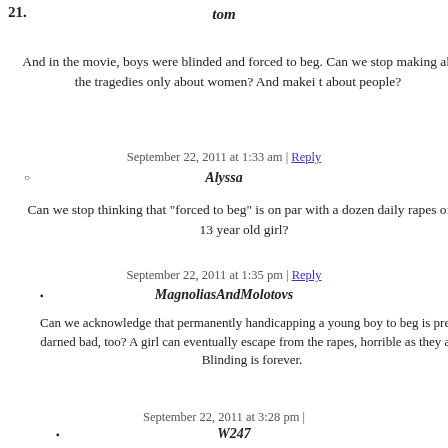21. tom
And in the movie, boys were blinded and forced to beg. Can we stop making all the tragedies only about women? And makei t about people?
September 22, 2011 at 1:33 am | Reply
Alyssa
Can we stop thinking that "forced to beg" is on par with a dozen daily rapes of a 13 year old girl?
September 22, 2011 at 1:35 pm | Reply
MagnoliasAndMolotovs
Can we acknowledge that permanently handicapping a young boy to beg is pretty darned bad, too? A girl can eventually escape from the rapes, horrible as they are. Blinding is forever.
September 22, 2011 at 3:28 pm |
W247
"...can escape from the rapes..."